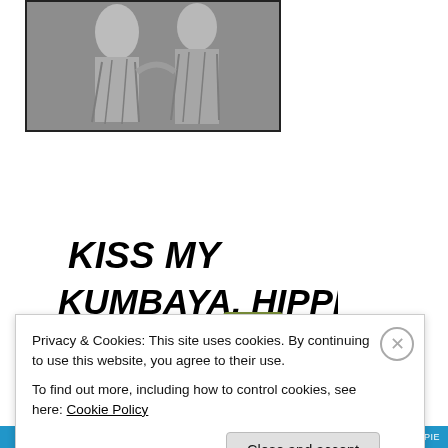[Figure (illustration): Black and white illustration/sculpture image showing robed figures]
[Figure (illustration): Comic cartoon illustration with text 'KISS MY KUMBAYA, HIPPIE!' showing a blonde figure holding a 'NO WAR' sign confronted by a man in a green hat]
Privacy & Cookies: This site uses cookies. By continuing to use this website, you agree to their use.
To find out more, including how to control cookies, see here: Cookie Policy
Close and accept